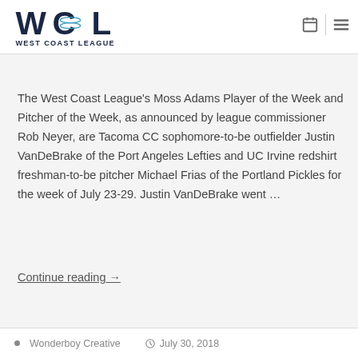West Coast League
The West Coast League's Moss Adams Player of the Week and Pitcher of the Week, as announced by league commissioner Rob Neyer, are Tacoma CC sophomore-to-be outfielder Justin VanDeBrake of the Port Angeles Lefties and UC Irvine redshirt freshman-to-be pitcher Michael Frias of the Portland Pickles for the week of July 23-29. Justin VanDeBrake went …
Continue reading →
Wonderboy Creative   July 30, 2018